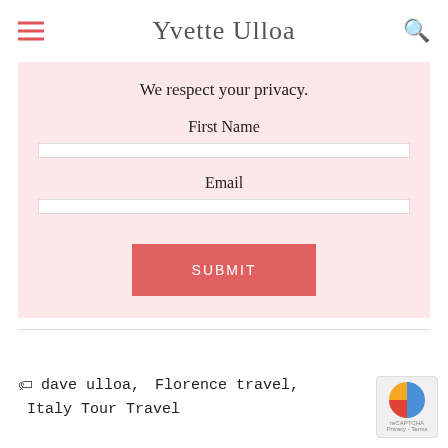Yvette Ulloa
Sign up with your email address to receive news and updates from Yvette!
We respect your privacy.
First Name
Email
SUBMIT
dave ulloa, Florence travel, Italy Tour Travel